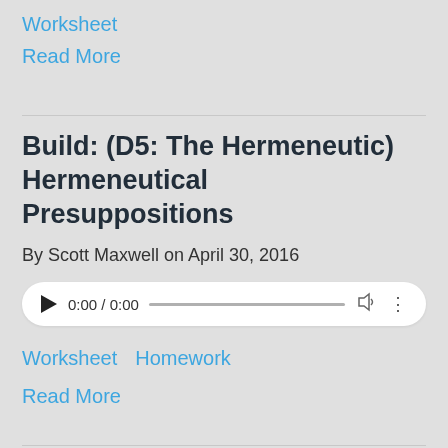Worksheet
Read More
Build: (D5: The Hermeneutic) Hermeneutical Presuppositions
By Scott Maxwell on April 30, 2016
[Figure (other): Audio player widget showing 0:00 / 0:00 with play button, progress bar, volume and more options icons]
Worksheet
Homework
Read More